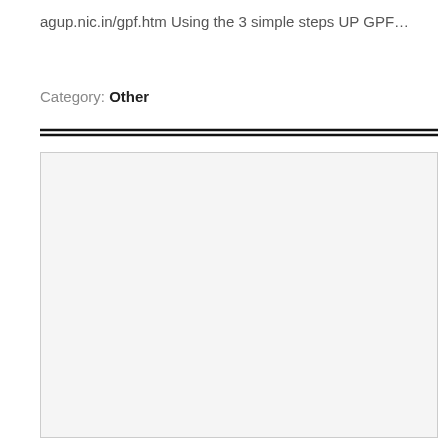agup.nic.in/gpf.htm Using the 3 simple steps UP GPF…
Category: Other
[Figure (other): Light gray rectangular placeholder image area]